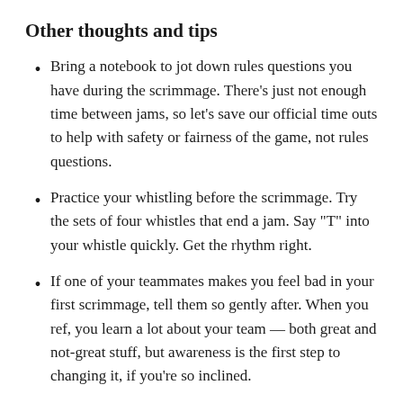Other thoughts and tips
Bring a notebook to jot down rules questions you have during the scrimmage. There’s just not enough time between jams, so let’s save our official time outs to help with safety or fairness of the game, not rules questions.
Practice your whistling before the scrimmage. Try the sets of four whistles that end a jam. Say “T” into your whistle quickly. Get the rhythm right.
If one of your teammates makes you feel bad in your first scrimmage, tell them so gently after. When you ref, you learn a lot about your team — both great and not-great stuff, but awareness is the first step to changing it, if you’re so inclined.